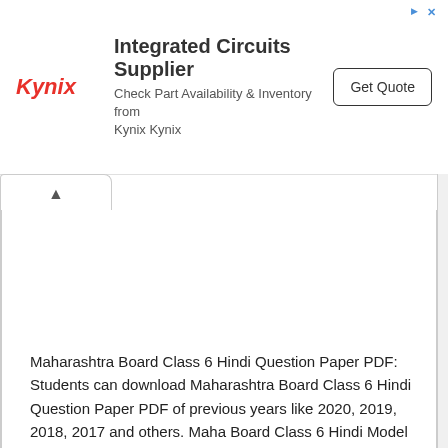[Figure (other): Kynix advertisement banner with logo, text 'Integrated Circuits Supplier', subtext 'Check Part Availability & Inventory from Kynix Kynix', and a 'Get Quote' button]
Maharashtra Board Class 6 Hindi Question Paper PDF: Students can download Maharashtra Board Class 6 Hindi Question Paper PDF of previous years like 2020, 2019, 2018, 2017 and others. Maha Board Class 6 Hindi Model Question Papers with Answers Pdf Free Download according to the latest exam pattern of Maharashtra Board Class 6 Hindi.